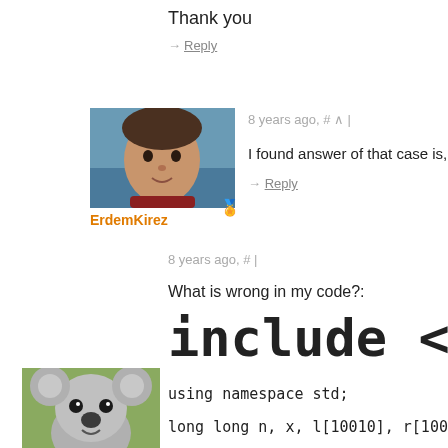Thank you
→ Reply
[Figure (photo): Profile photo of ErdemKirez, a young man outdoors near water]
ErdemKirez
8 years ago, # ^ |
I found answer of that case is, 1.18750
→ Reply
8 years ago, # |
What is wrong in my code?:
[Figure (photo): Profile photo of c1one, a koala bear]
c1one
using namespace std;
long long n, x, l[10010], r[10010], ans, res;
int main(){ cin >> n >> x; for(int i = 1; i <= n;